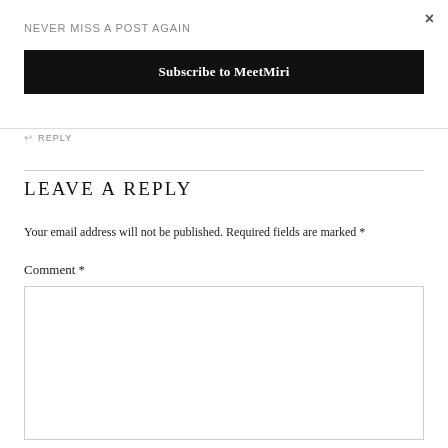×
NEVER MISS A POST AGAIN
Subscribe to MeetMiri
↩ REPLY
LEAVE A REPLY
Your email address will not be published. Required fields are marked *
Comment *